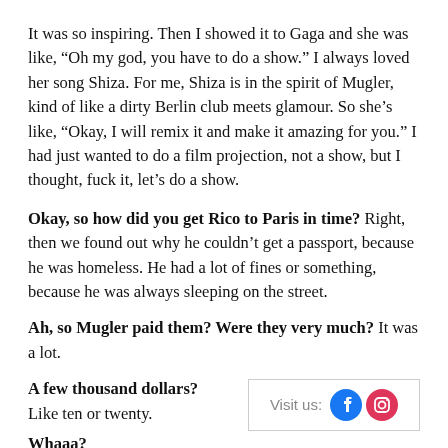It was so inspiring. Then I showed it to Gaga and she was like, “Oh my god, you have to do a show.” I always loved her song Shiza. For me, Shiza is in the spirit of Mugler, kind of like a dirty Berlin club meets glamour. So she’s like, “Okay, I will remix it and make it amazing for you.” I had just wanted to do a film projection, not a show, but I thought, fuck it, let’s do a show.
Okay, so how did you get Rico to Paris in time? Right, then we found out why he couldn’t get a passport, because he was homeless. He had a lot of fines or something, because he was always sleeping on the street.
Ah, so Mugler paid them? Were they very much? It was a lot.
A few thousand dollars? Like ten or twenty.
[Figure (infographic): Visit us: Facebook and Instagram social media icons in a bordered box]
Whaaa?